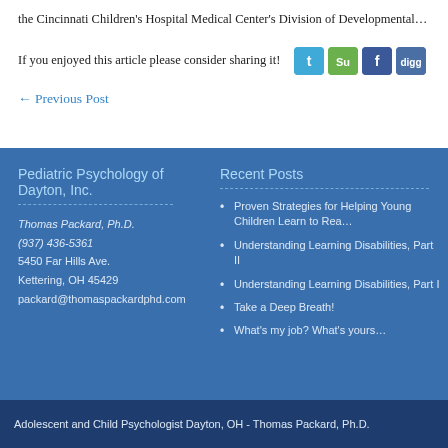the Cincinnati Children's Hospital Medical Center's Division of Developmental...
If you enjoyed this article please consider sharing it!
← Previous Post
Pediatric Psychology of Dayton, Inc.
Thomas Packard, Ph.D.
(937) 436-5361
5450 Far Hills Ave.
Kettering, OH 45429
packard@thomaspackardphd.com
Recent Posts
Proven Strategies for Helping Young Children Learn to Rea...
Understanding Learning Disabilities, Part II
Understanding Learning Disabilities, Part I
Take a Deep Breath!
What's my job? What's yours...
Adolescent and Child Psychologist Dayton, OH - Thomas Packard, Ph.D.